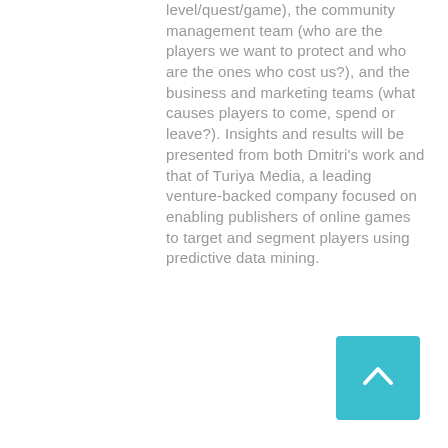level/quest/game), the community management team (who are the players we want to protect and who are the ones who cost us?), and the business and marketing teams (what causes players to come, spend or leave?). Insights and results will be presented from both Dmitri's work and that of Turiya Media, a leading venture-backed company focused on enabling publishers of online games to target and segment players using predictive data mining.
[Figure (other): Teal/cyan back-to-top button with upward-pointing chevron arrow, positioned in the bottom-right corner of the page.]